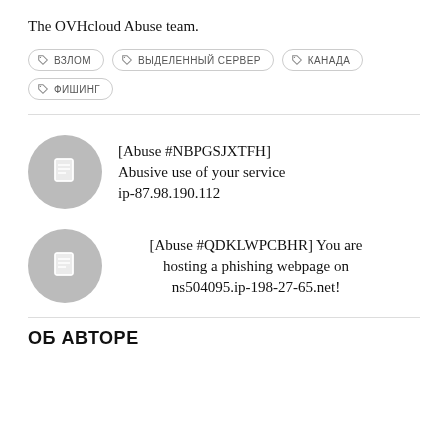The OVHcloud Abuse team.
ВЗЛОМ
ВЫДЕЛЕННЫЙ СЕРВЕР
КАНАДА
ФИШИНГ
[Figure (illustration): Gray circle with document icon]
[Abuse #NBPGSJXTFH] Abusive use of your service ip-87.98.190.112
[Abuse #QDKLWPCBHR] You are hosting a phishing webpage on ns504095.ip-198-27-65.net!
[Figure (illustration): Gray circle with document icon]
ОБ АВТОРЕ